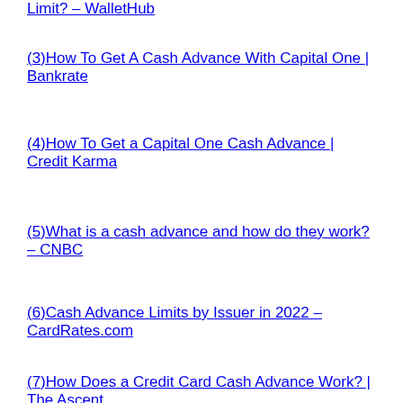Limit? – WalletHub
(3)How To Get A Cash Advance With Capital One | Bankrate
(4)How To Get a Capital One Cash Advance | Credit Karma
(5)What is a cash advance and how do they work? – CNBC
(6)Cash Advance Limits by Issuer in 2022 – CardRates.com
(7)How Does a Credit Card Cash Advance Work? | The Ascent